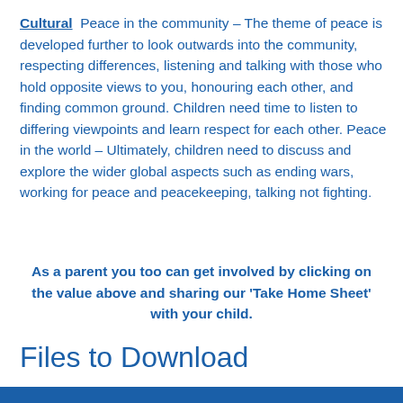Cultural  Peace in the community – The theme of peace is developed further to look outwards into the community, respecting differences, listening and talking with those who hold opposite views to you, honouring each other, and finding common ground. Children need time to listen to differing viewpoints and learn respect for each other. Peace in the world – Ultimately, children need to discuss and explore the wider global aspects such as ending wars, working for peace and peacekeeping, talking not fighting.
As a parent you too can get involved by clicking on the value above and sharing our 'Take Home Sheet' with your child.
Files to Download